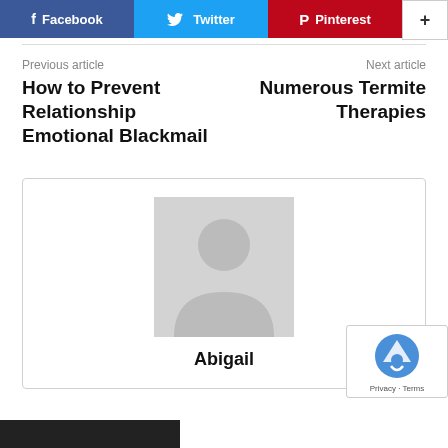[Figure (infographic): Social share buttons row: Facebook (blue), Twitter (light blue), Pinterest (red), and a white plus/more button]
Previous article
How to Prevent Relationship Emotional Blackmail
Next article
Numerous Termite Therapies
[Figure (photo): Author profile box with a gray placeholder avatar silhouette and the name Abigail below]
Abigail